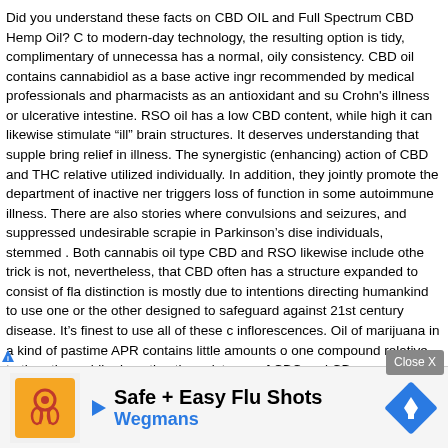Did you understand these facts on CBD OIL and Full Spectrum CBD Hemp Oil? C to modern-day technology, the resulting option is tidy, complimentary of unnecessa has a normal, oily consistency. CBD oil contains cannabidiol as a base active ingr recommended by medical professionals and pharmacists as an antioxidant and su Crohn's illness or ulcerative intestine. RSO oil has a low CBD content, while high it can likewise stimulate "ill" brain structures. It deserves understanding that supple bring relief in illness. The synergistic (enhancing) action of CBD and THC relative utilized individually. In addition, they jointly promote the department of inactive ner triggers loss of function in some autoimmune illness. There are also stories where convulsions and seizures, and suppressed undesirable scrapie in Parkinson's dise individuals, stemmed . Both cannabis oil type CBD and RSO likewise include othe trick is not, nevertheless, that CBD often has a structure expanded to consist of fla distinction is mostly due to intentions directing humankind to use one or the other designed to safeguard against 21st century disease. It's finest to use all of these c inflorescences. Oil of marijuana in a kind of pastime APR contains little amounts o one compound relative to the other, while deserting the existence of CBC and CB severe autoimmune diseases, while CBC or CBG show very little activity in the ex reason their material in the service appears to be unnecessary. In addition, the ma other cannabinoids. RSO oil is entirely prohibited in Poland, which is why it can no number of amateur methods for obtaining it, however it's good to know that compo unknown. The solvent for the production of household RSO is generally gas, alcoh hinder cannabinoids, and so in truth, they do not bring anything brand-new to the ceased to fear what is unknown, and started to discover what our forefathers had little strange relationships, associated generally with patholo al marijuana leaves containing psychoactive compounds coiled in so-called "joints", but an adv medical m s in the bloo and minin ns cannabio tetrahydro e high THC
[Figure (other): Advertisement banner: Safe + Easy Flu Shots - Wegmans, with orange logo icon on left and blue diamond road sign icon on right. Close X button overlay visible above the ad.]